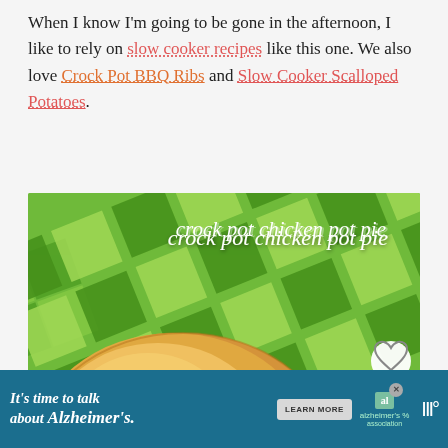When I know I'm going to be gone in the afternoon, I like to rely on slow cooker recipes like this one. We also love Crock Pot BBQ Ribs and Slow Cooker Scalloped Potatoes.
[Figure (photo): Photo of crock pot chicken pot pie — a golden biscuit on top of a chicken and vegetable filling on a green checkered background, with title text overlay 'crock pot chicken pot pie', a heart button, share button with count 2.9K, and a 'What's Next' bar showing 'From Scratch Chicken...']
[Figure (screenshot): Advertisement bar for Alzheimer's Association: 'It's time to talk about Alzheimer's.' with a Learn More button and the alzheimer's association logo]